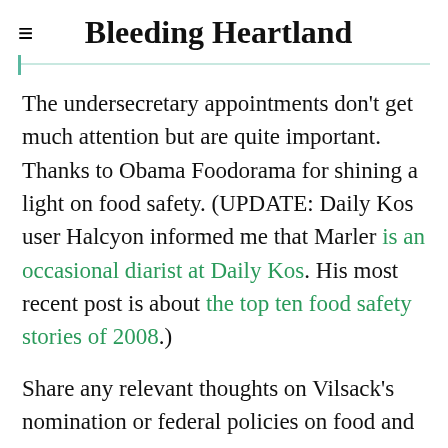Bleeding Heartland
The undersecretary appointments don't get much attention but are quite important. Thanks to Obama Foodorama for shining a light on food safety. (UPDATE: Daily Kos user Halcyon informed me that Marler is an occasional diarist at Daily Kos. His most recent post is about the top ten food safety stories of 2008.)
Share any relevant thoughts on Vilsack's nomination or federal policies on food and